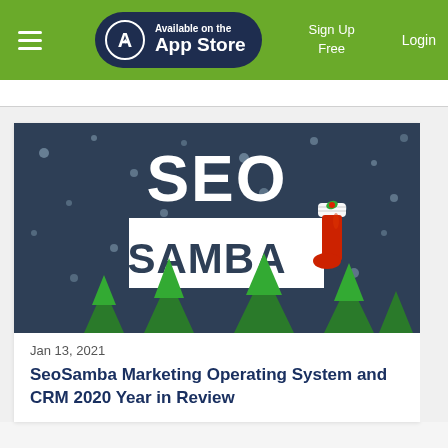Available on the App Store | Sign Up Free | Login
[Figure (illustration): SEO Samba logo on dark blue winter/Christmas themed background with snow dots and green trees, featuring a white rectangle with 'SEO SAMBA' text and a red Christmas stocking hanging from the 'A']
Jan 13, 2021
SeoSamba Marketing Operating System and CRM 2020 Year in Review